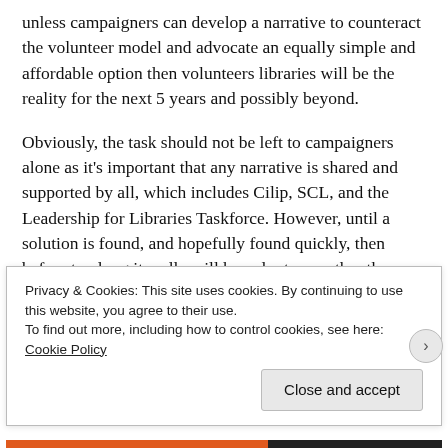unless campaigners can develop a narrative to counteract the volunteer model and advocate an equally simple and affordable option then volunteers libraries will be the reality for the next 5 years and possibly beyond.
Obviously, the task should not be left to campaigners alone as it's important that any narrative is shared and supported by all, which includes Cilip, SCL, and the Leadership for Libraries Taskforce. However, until a solution is found, and hopefully found quickly, then before too long it really will be volunteers rather than library staff and qualified librarians that will be at the heart of the service. To the detriment of all.
Privacy & Cookies: This site uses cookies. By continuing to use this website, you agree to their use. To find out more, including how to control cookies, see here: Cookie Policy
Close and accept